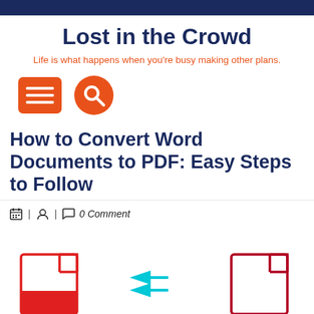Lost in the Crowd
Life is what happens when you're busy making other plans.
[Figure (infographic): Orange square menu button with three white horizontal lines, and an orange circle search button with magnifying glass icon]
How to Convert Word Documents to PDF: Easy Steps to Follow
🗓 | 👤 | 💬 0 Comment
[Figure (illustration): Partial illustration showing Word document and PDF document icons with conversion arrows in red and cyan]